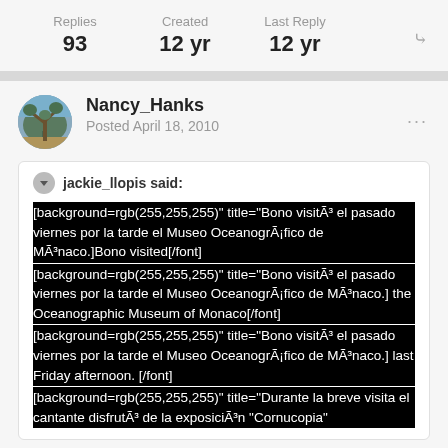Replies 93 | Created 12 yr | Last Reply 12 yr
Nancy_Hanks
Posted April 18, 2010
jackie_llopis said:
[background=rgb(255,255,255)" title="Bono visitÃ³ el pasado viernes por la tarde el Museo OceanogrÃ¡fico de MÃ³naco.]Bono visited[/font] [background=rgb(255,255,255)" title="Bono visitÃ³ el pasado viernes por la tarde el Museo OceanogrÃ¡fico de MÃ³naco.] the Oceanographic Museum of Monaco[/font] [background=rgb(255,255,255)" title="Bono visitÃ³ el pasado viernes por la tarde el Museo OceanogrÃ¡fico de MÃ³naco.] last Friday afternoon. [/font] [background=rgb(255,255,255)" title="Durante la breve visita el cantante disfrutÃ³ de la exposiciÃ³n "Cornucopia"